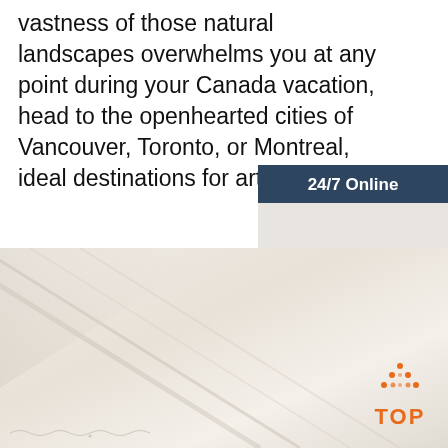vastness of those natural landscapes overwhelms you at any point during your Canada vacation, head to the openhearted cities of Vancouver, Toronto, or Montreal, ideal destinations for art ...
[Figure (other): Orange 'Get Price' button]
[Figure (other): Sidebar advertisement with '24/7 Online' header, photo of woman with headset, 'Click here for free chat!' text, and orange 'QUOTATION' button]
[Figure (photo): Close-up of light beige/cream fabric or textile material with diagonal folds, with an orange 'TOP' button with dotted arrow in bottom right corner]